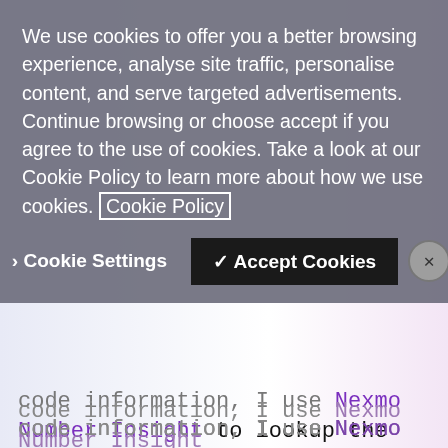code information, I use Nexmo Number Insight to lookup the country that they are sending messages from. They are then asked to provide their postal code. From this, I use a service called GeoNames to lookup the latitude and longitude for that postal code.
This information gets saved in the database along with their phone number. The latitude and longitude is used to calculate how far Santa is from them:
We use cookies to offer you a better browsing experience, analyse site traffic, personalise content, and serve targeted advertisements. Continue browsing or choose accept if you agree to the use of cookies. Take a look at our Cookie Policy to learn more about how we use cookies. Cookie Policy